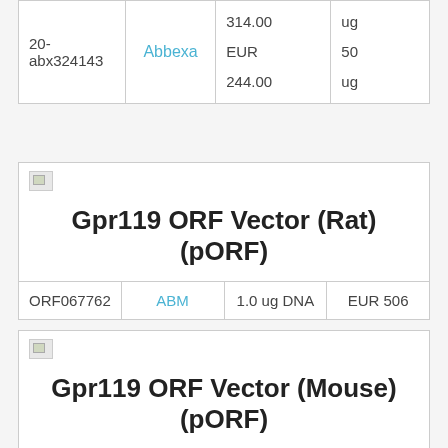| ID | Supplier | Price | Quantity |
| --- | --- | --- | --- |
| 20-
abx324143 | Abbexa | 314.00
EUR
244.00 | ug
50
ug |
[Figure (other): Broken image icon placeholder]
Gpr119 ORF Vector (Rat) (pORF)
| ID | Supplier | Quantity | Price |
| --- | --- | --- | --- |
| ORF067762 | ABM | 1.0 ug DNA | EUR 506 |
[Figure (other): Broken image icon placeholder]
Gpr119 ORF Vector (Mouse) (pORF)
| ID | Supplier | Quantity | Price |
| --- | --- | --- | --- |
| ORF046474 | ABM | 1.0 ug DNA | EUR 506 |